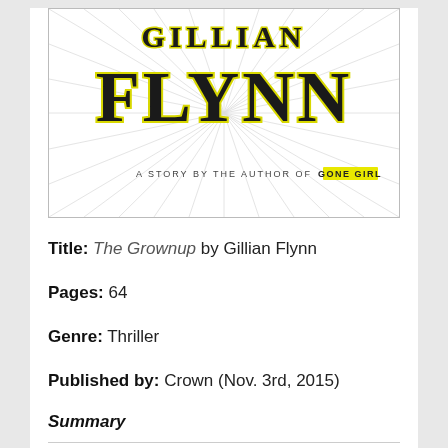[Figure (illustration): Book cover of 'The Grownup' by Gillian Flynn. Features the author name 'GILLIAN FLYNN' in large bold black letters with yellow outline, and below it 'A STORY BY THE AUTHOR OF GONE GIRL' with 'GONE GIRL' highlighted in yellow. White background with radiating gray lines.]
Title: The Grownup by Gillian Flynn
Pages: 64
Genre: Thriller
Published by: Crown (Nov. 3rd, 2015)
Summary